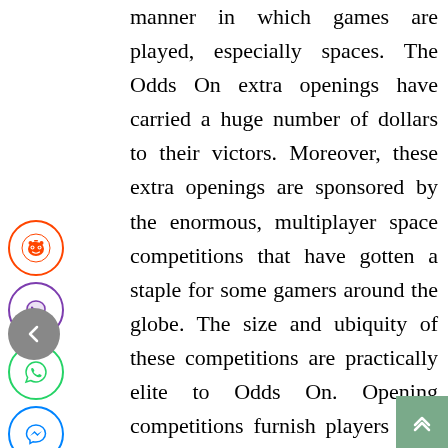manner in which games are played, especially spaces. The Odds On extra openings have carried a huge number of dollars to their victors. Moreover, these extra openings are sponsored by the enormous, multiplayer space competitions that have gotten a staple for some gamers around the globe. The size and ubiquity of these competitions are practically elite to Odds On. Opening competitions furnish players with the capacity to appreciate space gaming without a staggering budgetary hazard, while giving simpler access to huge rewards. Despite the fact that different kinds
[Figure (other): Social sharing icon buttons on left side: Reddit (orange), Viber (purple), WhatsApp (green), Messenger (blue), Pinterest (red). A grey back arrow button below. A teal scroll-to-top button in the bottom right corner.]